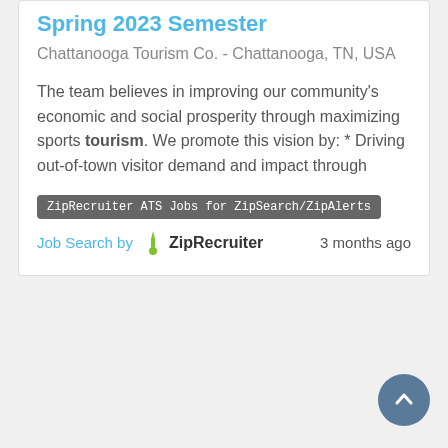Spring 2023 Semester
Chattanooga Tourism Co. - Chattanooga, TN, USA
The team believes in improving our community's economic and social prosperity through maximizing sports tourism. We promote this vision by: * Driving out-of-town visitor demand and impact through
ZipRecruiter ATS Jobs for ZipSearch/ZipAlerts
Job Search by ZipRecruiter   3 months ago